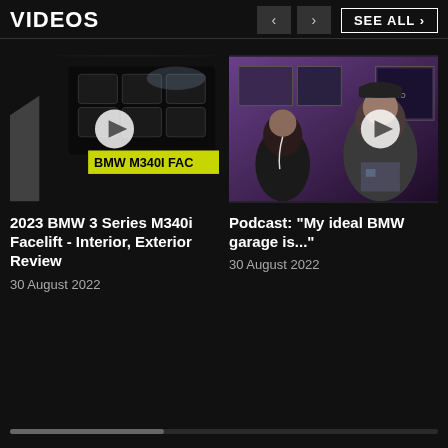VIDEOS
[Figure (screenshot): Video thumbnail for 2023 BMW M340i Facelift showing front grille of black BMW with yellow text overlay reading 'BMW M340I FAC' and a play button]
2023 BMW 3 Series M340i Facelift - Interior, Exterior Review
30 August 2022
[Figure (screenshot): Video thumbnail for podcast showing two people in conversation, one wearing a cap, with a play button overlay]
Podcast: "My ideal BMW garage is..."
30 August 2022